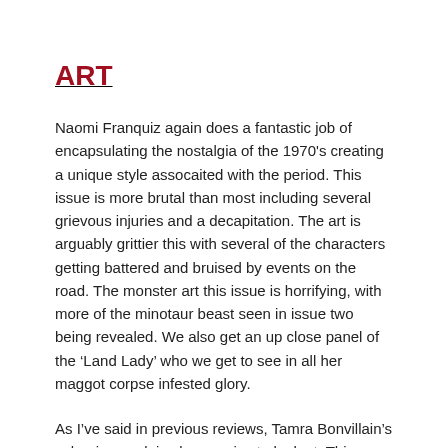ART
Naomi Franquiz again does a fantastic job of encapsulating the nostalgia of the 1970's creating a unique style assocaited with the period. This issue is more brutal than most including several grievous injuries and a decapitation. The art is arguably grittier this with several of the characters getting battered and bruised by events on the road. The monster art this issue is horrifying, with more of the minotaur beast seen in issue two being revealed. We also get an up close panel of the ‘Land Lady’ who we get to see in all her maggot corpse infested glory.
As I’ve said in previous reviews, Tamra Bonvillain’s colouring work is always a joy to look at. This issue focuses on what I call the darker ‘monster’ pallet